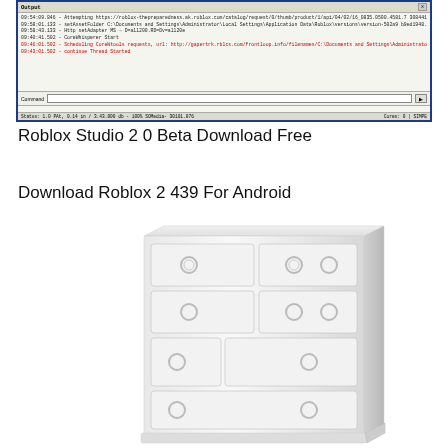[Figure (screenshot): Screenshot of Roblox Studio output/console window showing log messages and a command bar at the bottom, with status bar.]
Roblox Studio 2 0 Beta Download Free
Download Roblox 2 439 For Android
[Figure (photo): Image of a white dresser/chest of drawers with circular ring handles on each drawer, photographed at an angle against a white background.]